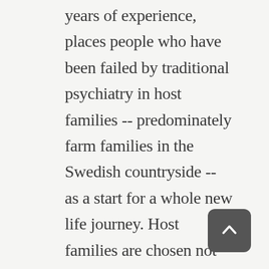years of experience, places people who have been failed by traditional psychiatry in host families -- predominately farm families in the Swedish countryside -- as a start for a whole new life journey. Host families are chosen not for any psychiatric expertise, rather, for their compassion, stability, and desire to give back. People live with these families for upwards of a year or two and become an integral part of a functioning family system. Staff members offer clients intensive psychotherapy and provide host families with intensive supervision...